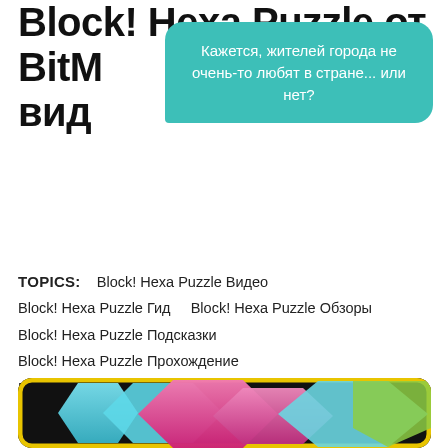Block! Hexa Puzzle от BitMango видео
Кажется, жителей города не очень-то любят в стране... или нет?
TOPICS:   Block! Hexa Puzzle Видео
Block! Hexa Puzzle Гид    Block! Hexa Puzzle Обзоры
Block! Hexa Puzzle Подсказки
Block! Hexa Puzzle Прохождение
Block! Hexa Puzzle Советы    Block! Hexa Puzzle Хаки
Block! Hexa Puzzle Читы
[Figure (photo): Block! Hexa Puzzle app icon showing colorful hexagonal puzzle pieces (pink, blue, green) with yellow border on black background]